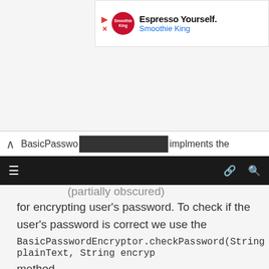[Figure (screenshot): Advertisement banner for Smoothie King - Espresso Yourself promotion with logo]
BasicPasswo... implements the
for encrypting user's password. To check if the user's password is correct we use the BasicPasswordEncryptor.checkPassword(String plainText, String encryp method.
package org.kodejava.jasypt;

import org.jasypt.util.password.BasicPasswordEncryptor;
import org.jasypt.util.password.PasswordEncryptor;

public class PasswordEncryptorDemo {
    public static void main(String[] args) {